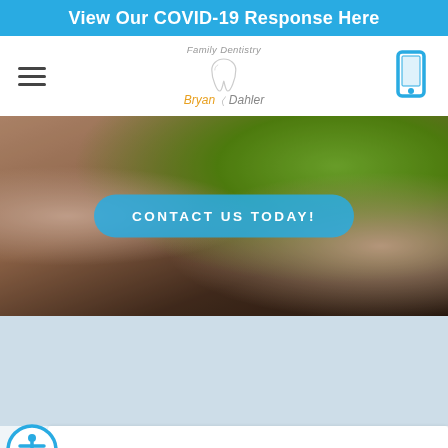View Our COVID-19 Response Here
[Figure (logo): Family Dentistry Bryan Dahler logo with tooth graphic]
[Figure (illustration): Phone/mobile icon in blue]
[Figure (photo): Close-up photo of person biting into a green apple, showing teeth and hands]
CONTACT US TODAY!
[Figure (illustration): Light blue section background area]
[Figure (illustration): Accessibility icon — person in circle with blue border]